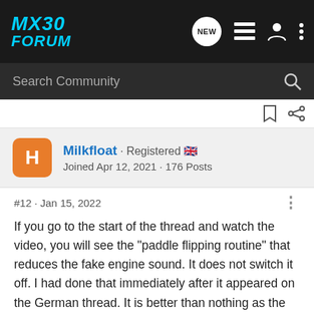MX30 FORUM
Search Community
Milkfloat · Registered 🇬🇧
Joined Apr 12, 2021 · 176 Posts
#12 · Jan 15, 2022
If you go to the start of the thread and watch the video, you will see the "paddle flipping routine" that reduces the fake engine sound. It does not switch it off. I had done that immediately after it appeared on the German thread. It is better than nothing as the man says in the video but the reduced sound is very much still there. I could just about cope with the sound from standstill but the noise when travelling and accelerating at higher speed annoyed the hell out of me. Now, with the dealer having switched off the noise completely, the improvement is